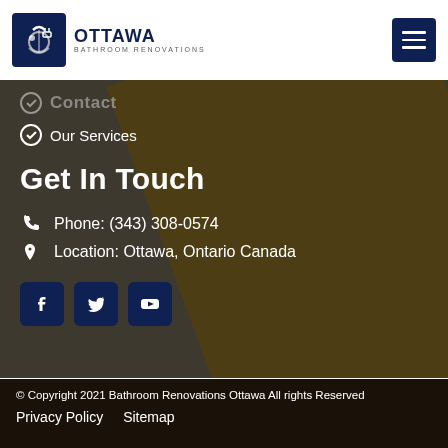OTTAWA BATHROOM RENOVATIONS
Our Services
Get In Touch
Phone: (343) 308-0574
Location: Ottawa, Ontario Canada
[Figure (other): Social media icons: Facebook, Twitter, YouTube]
© Copyright 2021 Bathroom Renovations Ottawa All rights Reserved
Privacy Policy   Sitemap